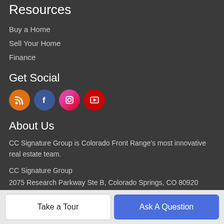Resources
Buy a Home
Sell Your Home
Finance
Get Social
[Figure (other): Social media icons: RSS (orange), Facebook (blue), Instagram (pink/red gradient), YouTube (red)]
About Us
CC Signature Group is Colorado Front Range's most innovative real estate team.
CC Signature Group
2075 Research Parkway Ste B, Colorado Springs, CO 80920
719-550-2547
Take a Tour
Ask A Question